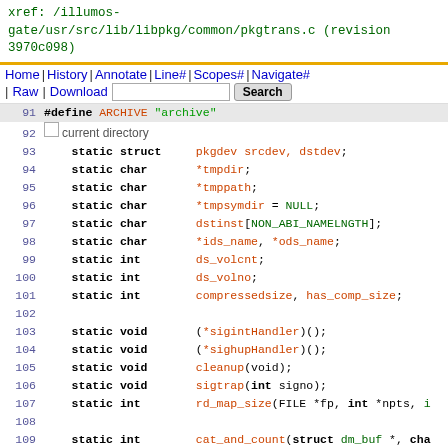xref: /illumos-gate/usr/src/lib/libpkg/common/pkgtrans.c (revision 3970c098)
Home | History | Annotate | Line# | Scopes# | Navigate# | Raw | Download  [Search]
91  #define ARCHIVE "archive"
93  static struct pkgdev srcdev, dstdev;
94  static char *tmpdir;
95  static char *tmppath;
96  static char *tmpsymdir = NULL;
97  static char dstinst[NON_ABI_NAMELNGTH];
98  static char *ids_name, *ods_name;
99  static int ds_volcnt;
100 static int ds_volno;
101 static int compressedsize, has_comp_size;
102
103 static void (*sigintHandler)();
104 static void (*sighupHandler)();
105 static void cleanup(void);
106 static void sigtrap(int signo);
107 static int rd_map_size(FILE *fp, int *npts, ...);
108
109 static int cat_and_count(struct dm_buf *, cha...);
110
111 static int ckoverwrite(char *dir, char *inst,...);
112 static int pkgxfer(char *srcinst, int options...);
113 static int wdsheader(struct dm_buf *, char *o...);
114 static struct dm_buf *genheader(char *, char *...);
115